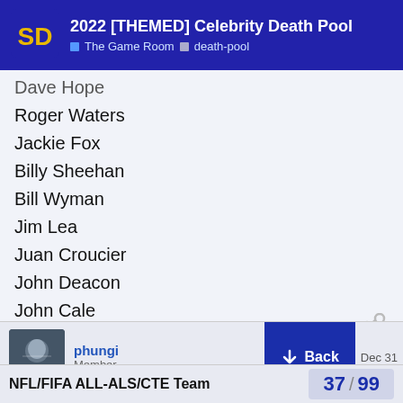2022 [THEMED] Celebrity Death Pool | The Game Room > death-pool
Dave Hope
Roger Waters
Jackie Fox
Billy Sheehan
Bill Wyman
Jim Lea
Juan Croucier
John Deacon
John Cale
Alt:
Jason Newstead
phungi
Member
Dec 31
NFL/FIFA ALL-ALS/CTE Team
37 / 99